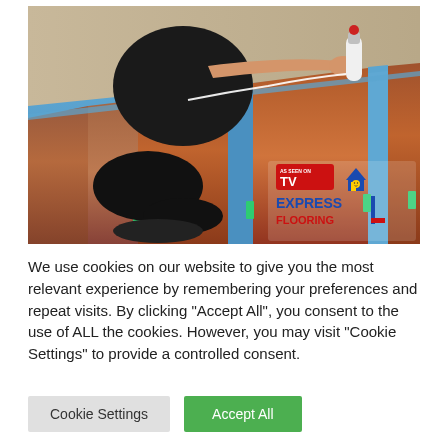[Figure (photo): A person kneeling and applying glue or adhesive from a bottle along the edge of laminate/hardwood flooring planks laid on blue underlayment. A logo in the bottom-right reads 'AS SEEN ON TV EXPRESS FLOORING' with a red and blue house icon.]
We use cookies on our website to give you the most relevant experience by remembering your preferences and repeat visits. By clicking "Accept All", you consent to the use of ALL the cookies. However, you may visit "Cookie Settings" to provide a controlled consent.
Cookie Settings | Accept All